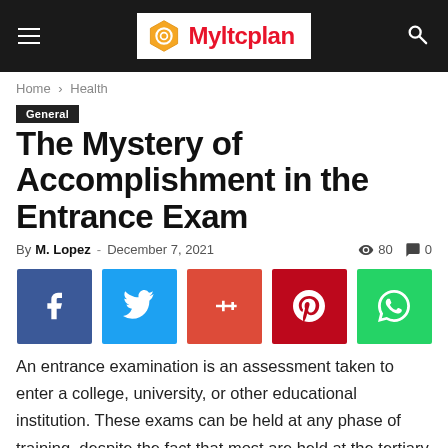Myltcplan
Home › Health
General
The Mystery of Accomplishment in the Entrance Exam
By M. Lopez - December 7, 2021  👁 80  💬 0
[Figure (other): Social sharing buttons: Facebook, Twitter, Google+, Pinterest, WhatsApp]
An entrance examination is an assessment taken to enter a college, university, or other educational institution. These exams can be held at any phase of training, despite the fact that most are held at the tertiary amount. If you want to study at a certain college, you can get ready for an entrance examination.